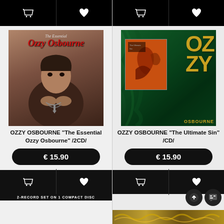[Figure (screenshot): E-commerce product listing showing two Ozzy Osbourne albums side by side with cart and wishlist buttons, album art, titles, prices, and action buttons]
OZZY OSBOURNE "The Essential Ozzy Osbourne" /2CD/
€ 15.90
OZZY OSBOURNE "The Ultimate Sin" /CD/
€ 15.90
2-RECORD SET ON 1 COMPACT DISC